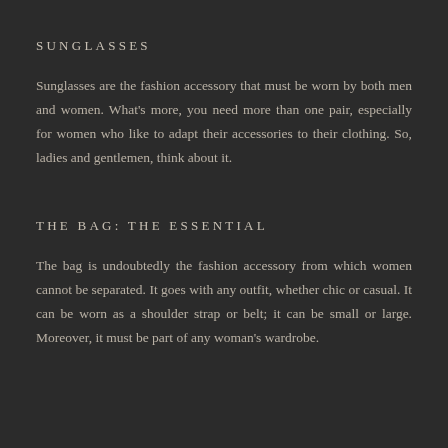SUNGLASSES
Sunglasses are the fashion accessory that must be worn by both men and women. What's more, you need more than one pair, especially for women who like to adapt their accessories to their clothing. So, ladies and gentlemen, think about it.
THE BAG: THE ESSENTIAL
The bag is undoubtedly the fashion accessory from which women cannot be separated. It goes with any outfit, whether chic or casual. It can be worn as a shoulder strap or belt; it can be small or large. Moreover, it must be part of any woman's wardrobe.